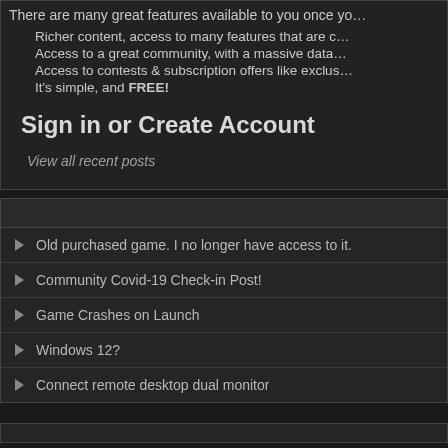There are many great features available to you once yo…
Richer content, access to many features that are c…
Access to a great community, with a massive data…
Access to contests & subscription offers like exclus…
It's simple, and FREE!
Sign in or Create Account
View all recent posts
Old purchased game. I no longer have access to it.
Community Covid-19 Check-in Post!
Game Crashes on Launch
Windows 12?
Connect remote desktop dual monitor